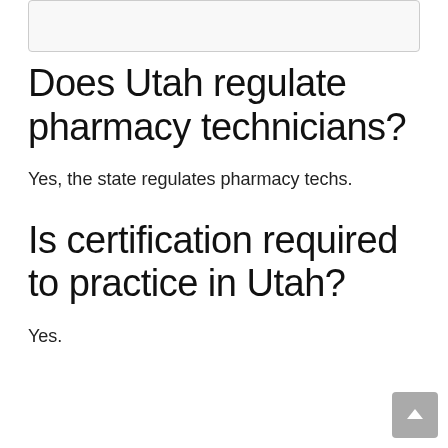Does Utah regulate pharmacy technicians?
Yes, the state regulates pharmacy techs.
Is certification required to practice in Utah?
Yes.